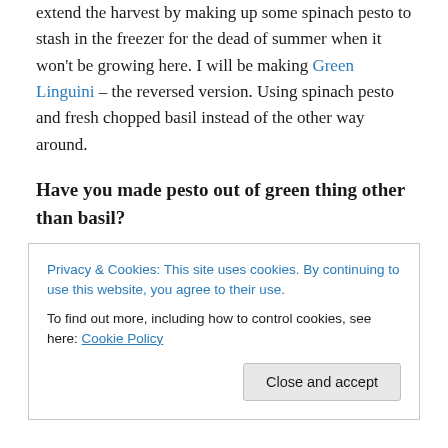extend the harvest by making up some spinach pesto to stash in the freezer for the dead of summer when it won't be growing here. I will be making Green Linguini – the reversed version. Using spinach pesto and fresh chopped basil instead of the other way around.
Have you made pesto out of green thing other than basil?
Sincerely, Emily
You can see what else I am up to over at Sincerely, Emily.
The topics are varied, as I jump around from gardening to
Privacy & Cookies: This site uses cookies. By continuing to use this website, you agree to their use. To find out more, including how to control cookies, see here: Cookie Policy